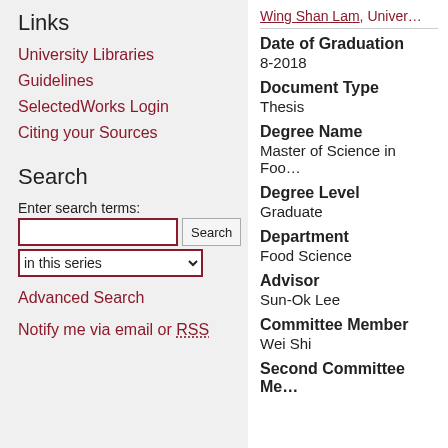Links
University Libraries
Guidelines
SelectedWorks Login
Citing your Sources
Search
Enter search terms:
Advanced Search
Notify me via email or RSS
Wing Shan Lam, Univer…
Date of Graduation
8-2018
Document Type
Thesis
Degree Name
Master of Science in Foo…
Degree Level
Graduate
Department
Food Science
Advisor
Sun-Ok Lee
Committee Member
Wei Shi
Second Committee Me…